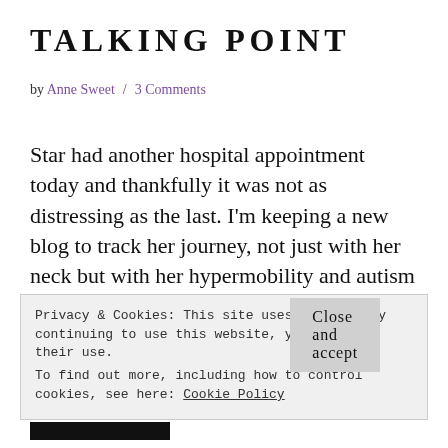TALKING POINT
by Anne Sweet / 3 Comments
Star had another hospital appointment today and thankfully it was not as distressing as the last. I'm keeping a new blog to track her journey, not just with her neck but with her hypermobility and autism too. You can find it at www.zebrahooves.co.uk We are now
Privacy & Cookies: This site uses cookies. By continuing to use this website, you agree to their use.
To find out more, including how to control cookies, see here: Cookie Policy
Close and accept